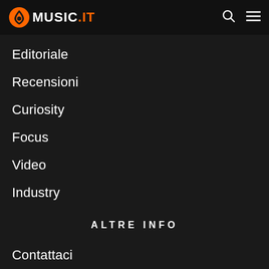[Figure (logo): Music.it logo with orange guitar pick icon and white bold text MUSIC.IT]
Editoriale
Recensioni
Curiosity
Focus
Video
Industry
ALTRE INFO
Contattaci
Cookie Policy
Invio Materiale
Music.it Studio